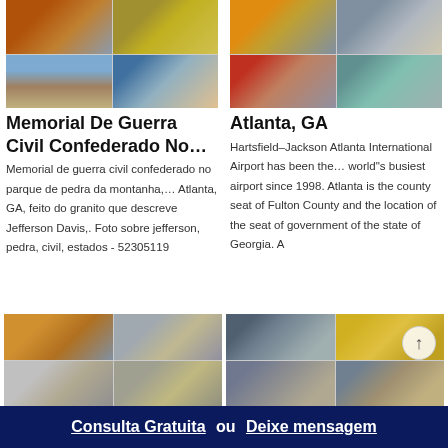[Figure (photo): Grid of 4 mining/quarrying equipment photos - left column top]
[Figure (photo): Grid of 4 mining/quarrying equipment photos - right column top]
Memorial De Guerra Civil Confederado No…
Atlanta, GA
Memorial de guerra civil confederado no parque de pedra da montanha,… Atlanta, GA, feito do granito que descreve Jefferson Davis,. Foto sobre jefferson, pedra, civil, estados - 52305119
Hartsfield–Jackson Atlanta International Airport has been the… world"s busiest airport since 1998. Atlanta is the county seat of Fulton County and the location of the seat of government of the state of Georgia. A
[Figure (photo): Grid of 4 mining/quarrying equipment photos - left column bottom (partial)]
[Figure (photo): Grid of 4 mining/quarrying equipment photos - right column bottom (partial)]
Consulta Gratuita  ou  Deixe mensagem